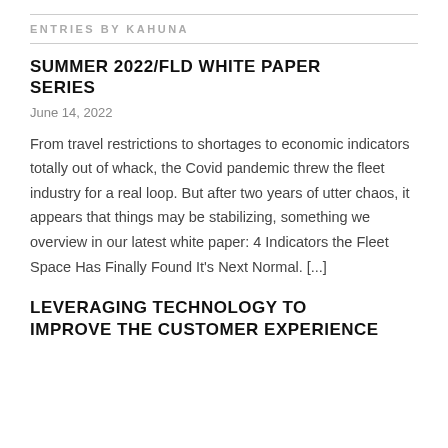ENTRIES BY KAHUNA
SUMMER 2022/FLD WHITE PAPER SERIES
June 14, 2022
From travel restrictions to shortages to economic indicators totally out of whack, the Covid pandemic threw the fleet industry for a real loop. But after two years of utter chaos, it appears that things may be stabilizing, something we overview in our latest white paper: 4 Indicators the Fleet Space Has Finally Found It's Next Normal. [...]
LEVERAGING TECHNOLOGY TO IMPROVE THE CUSTOMER EXPERIENCE